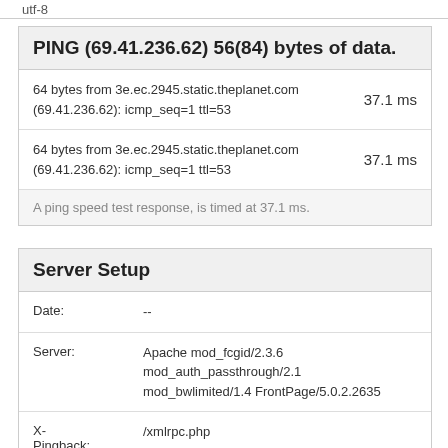utf-8
PING (69.41.236.62) 56(84) bytes of data.
64 bytes from 3e.ec.2945.static.theplanet.com (69.41.236.62): icmp_seq=1 ttl=53	37.1 ms
64 bytes from 3e.ec.2945.static.theplanet.com (69.41.236.62): icmp_seq=1 ttl=53	37.1 ms
A ping speed test response, is timed at 37.1 ms.
Server Setup
| Field | Value |
| --- | --- |
| Date: | -- |
| Server: | Apache mod_fcgid/2.3.6 mod_auth_passthrough/2.1 mod_bwlimited/1.4 FrontPage/5.0.2.2635 |
| X-Pingback: | /xmlrpc.php |